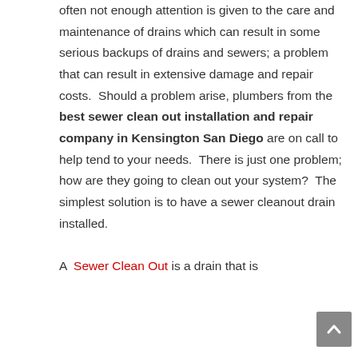often not enough attention is given to the care and maintenance of drains which can result in some serious backups of drains and sewers; a problem that can result in extensive damage and repair costs.  Should a problem arise, plumbers from the best sewer clean out installation and repair company in Kensington San Diego are on call to help tend to your needs.  There is just one problem; how are they going to clean out your system?  The simplest solution is to have a sewer cleanout drain installed.

A  Sewer Clean Out is a drain that is